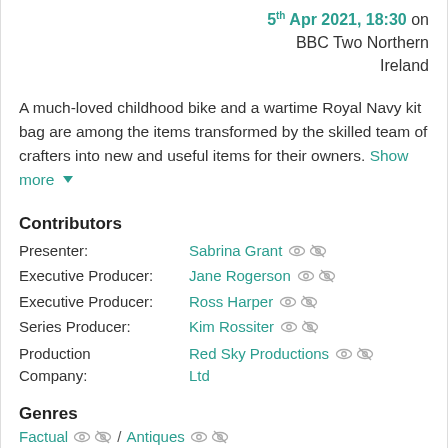5th Apr 2021, 18:30 on BBC Two Northern Ireland
A much-loved childhood bike and a wartime Royal Navy kit bag are among the items transformed by the skilled team of crafters into new and useful items for their owners. Show more
Contributors
Presenter: Sabrina Grant
Executive Producer: Jane Rogerson
Executive Producer: Ross Harper
Series Producer: Kim Rossiter
Production Company: Red Sky Productions Ltd
Genres
Factual / Antiques